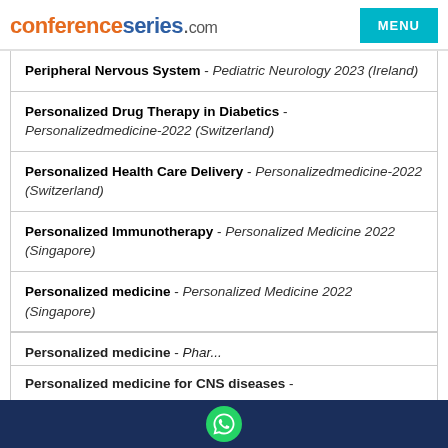conferenceseries.com | MENU
Peripheral Nervous System - Pediatric Neurology 2023 (Ireland)
Personalized Drug Therapy in Diabetics - Personalizedmedicine-2022 (Switzerland)
Personalized Health Care Delivery - Personalizedmedicine-2022 (Switzerland)
Personalized Immunotherapy - Personalized Medicine 2022 (Singapore)
Personalized medicine - Personalized Medicine 2022 (Singapore)
Personalized medicine - [partial, cut off]
Personalized medicine for CNS diseases -